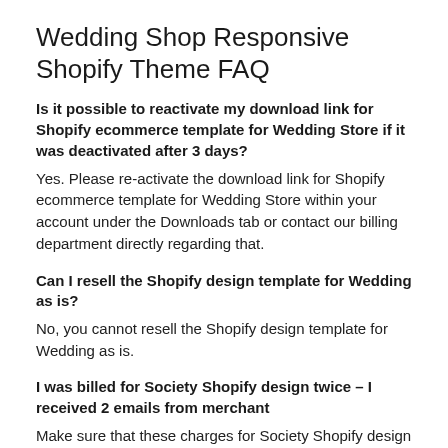Wedding Shop Responsive Shopify Theme FAQ
Is it possible to reactivate my download link for Shopify ecommerce template for Wedding Store if it was deactivated after 3 days?
Yes. Please re-activate the download link for Shopify ecommerce template for Wedding Store within your account under the Downloads tab or contact our billing department directly regarding that.
Can I resell the Shopify design template for Wedding as is?
No, you cannot resell the Shopify design template for Wedding as is.
I was billed for Society Shopify design twice – I received 2 emails from merchant
Make sure that these charges for Society Shopify design have different order IDs. If it is so, contact our billing department.